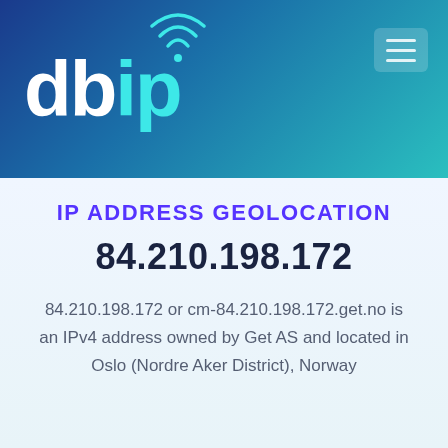[Figure (logo): db-ip.com logo with wifi/signal icon arcs above the letter i, text 'dbip' where 'ip' is in cyan/teal color, on a blue-to-teal gradient header background]
IP ADDRESS GEOLOCATION
84.210.198.172
84.210.198.172 or cm-84.210.198.172.get.no is an IPv4 address owned by Get AS and located in Oslo (Nordre Aker District), Norway